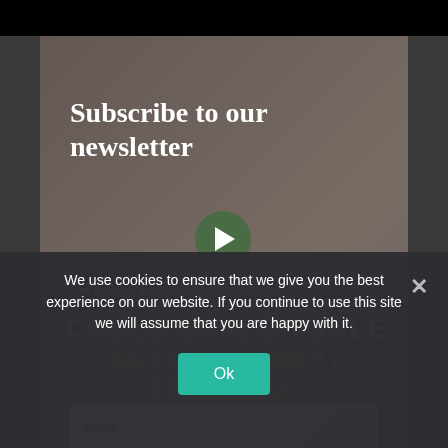Subscribe to our newsletter
Get updates as well as our newletters.
[Figure (screenshot): Video thumbnail with two men in suits and overlay text reading 'COULD ERIN O'TOOLE ACTUALLY BEAT TRUDEAU?' with a play button]
COULD ERIN O'TOOLE ACTUALLY BEAT TRUDEAU?
Email
Name
We use cookies to ensure that we give you the best experience on our website. If you continue to use this site we will assume that you are happy with it.
Ok